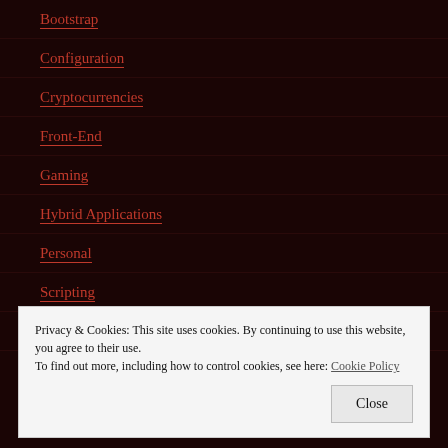Bootstrap
Configuration
Cryptocurrencies
Front-End
Gaming
Hybrid Applications
Personal
Scripting
Uncategorized
Privacy & Cookies: This site uses cookies. By continuing to use this website, you agree to their use.
To find out more, including how to control cookies, see here: Cookie Policy
Close